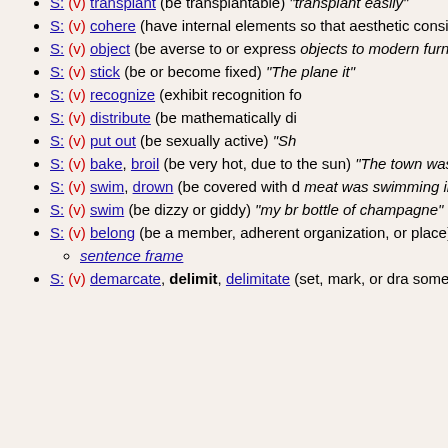S: (v) transplant (be transplantable) "transplant easily"
S: (v) cohere (have internal elements so that aesthetic consistency results) "societies cohere"
S: (v) object (be averse to or express ...) "objects to modern furniture"
S: (v) stick (be or become fixed) "The... plane it"
S: (v) recognize (exhibit recognition fo...)
S: (v) distribute (be mathematically di...)
S: (v) put out (be sexually active) "Sh..."
S: (v) bake, broil (be very hot, due to the sun) "The town was broiling in the... baking in the heat"
S: (v) swim, drown (be covered with d... meat was swimming in a fatty gravy"
S: (v) swim (be dizzy or giddy) "my br... bottle of champagne"
S: (v) belong (be a member, adherent... organization, or place)) "They belong..."
sentence frame
S: (v) demarcate, delimit, delimitate (set, mark, or dra... something)